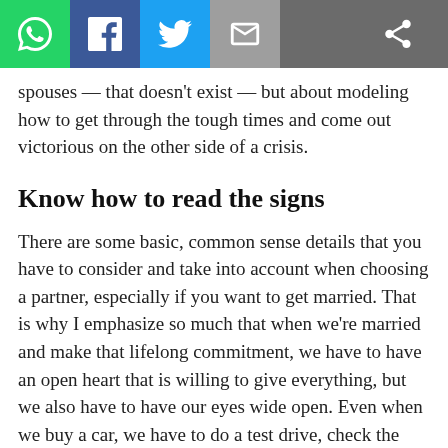[Figure (other): Social sharing toolbar with WhatsApp (green), Facebook (blue), Twitter (light blue), Email (grey), and Share (dark grey) buttons]
spouses — that doesn't exist — but about modeling how to get through the tough times and come out victorious on the other side of a crisis.
Know how to read the signs
There are some basic, common sense details that you have to consider and take into account when choosing a partner, especially if you want to get married. That is why I emphasize so much that when we're married and make that lifelong commitment, we have to have an open heart that is willing to give everything, but we also have to have our eyes wide open. Even when we buy a car, we have to do a test drive, check the engine, know its features, and so on.